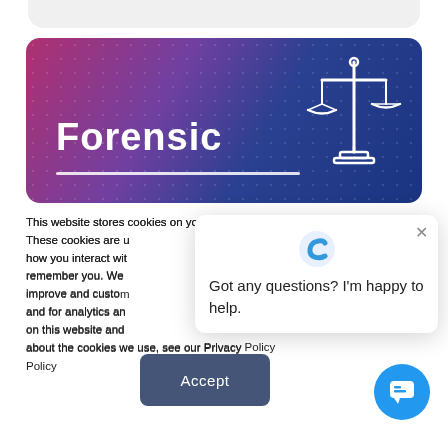[Figure (illustration): Forensic website banner with gradient background from pink/magenta to dark blue, title 'Forensic' in white bold text, a white horizontal line, and a scales of justice icon on the right.]
This website stores cookies on your computer. These cookies are used to collect information about how you interact with our website and allow us to remember you. We use this information in order to improve and customize your browsing experience and for analytics and metrics about our visitors both on this website and other media. To find out more about the cookies we use, see our Privacy Policy
[Figure (screenshot): Chat widget popup with 'C' logo and text: Got any questions? I'm happy to help. With an X close button.]
Accept
[Figure (illustration): Blue circular chat button with chat bubble icon.]